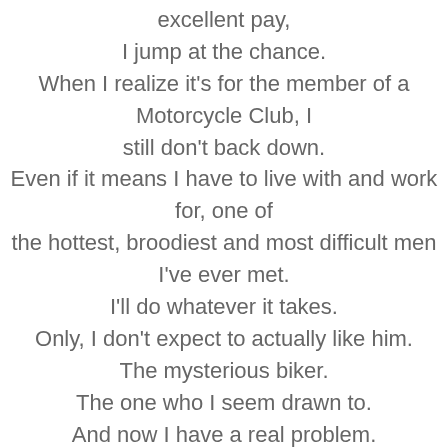excellent pay,
I jump at the chance.
When I realize it's for the member of a
Motorcycle Club, I
still don't back down.
Even if it means I have to live with and work
for, one of
the hottest, broodiest and most difficult men
I've ever met.
I'll do whatever it takes.
Only, I don't expect to actually like him.
The mysterious biker.
The one who I seem drawn to.
And now I have a real problem.
Do what's right, or let my heart take me where
it wishes?
Two men. Once choice.